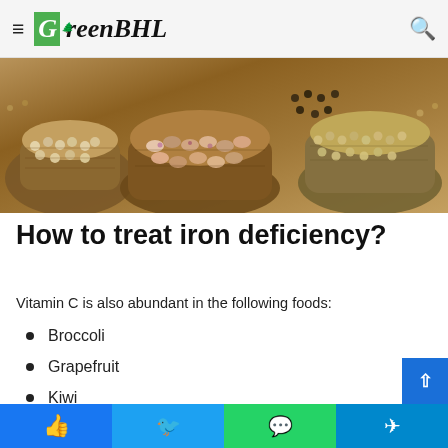GreenBHL
[Figure (photo): Multiple burlap sacks filled with various dried beans, legumes, and grains viewed from above]
How to treat iron deficiency?
Vitamin C is also abundant in the following foods:
Broccoli
Grapefruit
Kiwi
Green lettuce (partial)
Facebook | Twitter | WhatsApp | Telegram